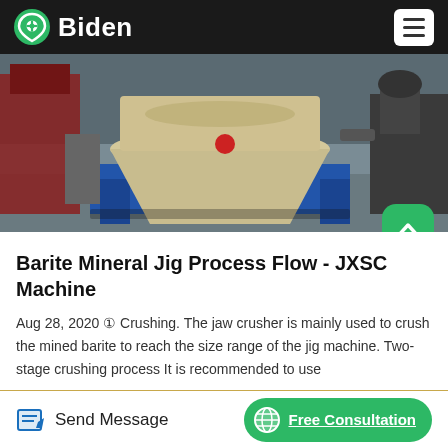Biden
[Figure (photo): Industrial cone crusher machine on a blue metal stand in a workshop/factory setting. Red equipment visible on the left, other machinery on the right.]
Barite Mineral Jig Process Flow - JXSC Machine
Aug 28, 2020 ① Crushing. The jaw crusher is mainly used to crush the mined barite to reach the size range of the jig machine. Two-stage crushing process It is recommended to use ...
Send Message | Free Consultation